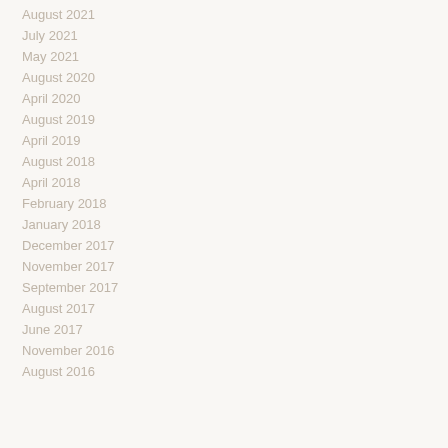August 2021
July 2021
May 2021
August 2020
April 2020
August 2019
April 2019
August 2018
April 2018
February 2018
January 2018
December 2017
November 2017
September 2017
August 2017
June 2017
November 2016
August 2016